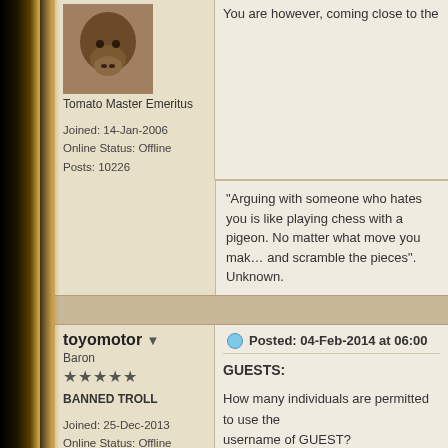[Figure (photo): Forum user avatar showing an animal (horse-like creature), partially visible at top]
Tomato Master Emeritus
Joined: 14-Jan-2006
Online Status: Offline
Posts: 10226
You are however, coming close to the
"Arguing with someone who hates you is like playing chess with a pigeon. No matter what move you make, he will knock the pieces over and scramble the pieces".
Unknown.
toyomotor ▼
Baron
★★★★★
BANNED TROLL
Joined: 25-Dec-2013
Online Status: Offline
Posts: 387
Posted: 04-Feb-2014 at 06:00
GUESTS:
How many individuals are permitted to use the username of GUEST?
I think it would be fair if guests were pe... asked to become members.
I would imagine that this could be mo... GUEST users.